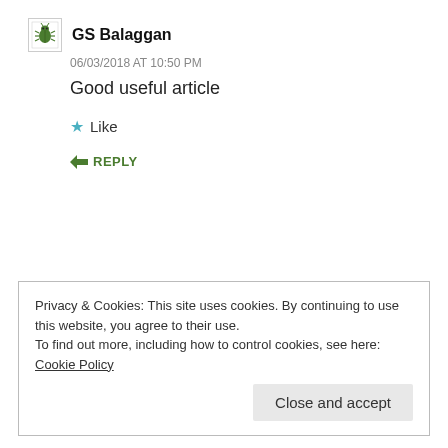GS Balaggan
06/03/2018 AT 10:50 PM
Good useful article
Like
REPLY
Privacy & Cookies: This site uses cookies. By continuing to use this website, you agree to their use.
To find out more, including how to control cookies, see here: Cookie Policy
Close and accept